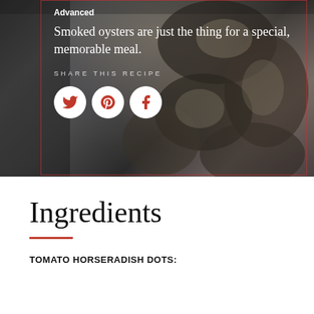[Figure (photo): Dark overhead photo of smoked oysters on a plate, with a red-bordered overlay box containing text and social sharing icons]
Advanced
Smoked oysters are just the thing for a special, memorable meal.
SHARE THIS RECIPE
Ingredients
TOMATO HORSERADISH DOTS: